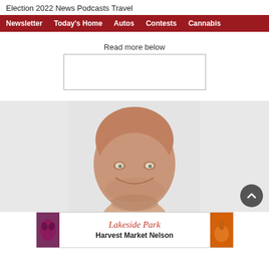Election 2022  News  Podcasts  Travel
Newsletter  Today's Home  Autos  Contests  Cannabis
Read more below
[Figure (other): Empty advertisement placeholder box]
[Figure (photo): Close-up headshot of a bald middle-aged man smiling, photographed against a light grey background]
[Figure (other): Advertisement banner for Lakeside Park Harvest Market Nelson with vegetable imagery on sides]